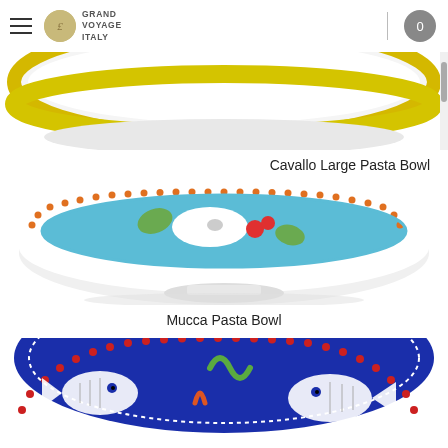Grand Voyage Italy — navigation header with hamburger menu and cart button (0)
[Figure (photo): Top portion of a white ceramic pasta bowl with yellow/gold rim band — Cavallo Large Pasta Bowl]
Cavallo Large Pasta Bowl
[Figure (photo): White ceramic pasta bowl with turquoise inner rim, orange dot border, and hand-painted design of a white cow with red tomatoes and green vegetables on blue background — Mucca Pasta Bowl]
Mucca Pasta Bowl
[Figure (photo): Partial top view of a deep blue ceramic bowl with red dot border and hand-painted fish and sea creature design in white, green, and orange]